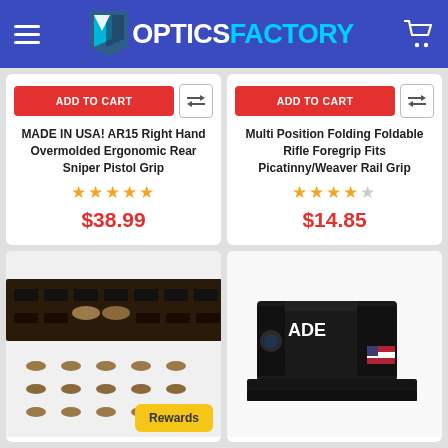OpticsFACTORY
ADD TO CART | MADE IN USA! AR15 Right Hand Overmolded Ergonomic Rear Sniper Pistol Grip | ★★★★★ | $38.99
ADD TO CART | Multi Position Folding Foldable Rifle Foregrip Fits Picatinny/Weaver Rail Grip | ★★★★☆ | $14.85
[Figure (photo): M-LOK handguard rail with tan/coyote brown polymer M-LOK plugs/rail covers installed and loose]
[Figure (photo): ADE Advanced Optics black compact red dot sight/reflex sight with USA flag and 'Designed in Oregon USA' markings]